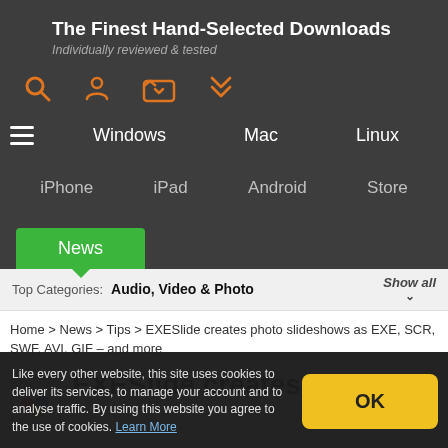The Finest Hand-Selected Downloads
Individually reviewed & tested
Windows | Mac | Linux | iPhone | iPad | Android | Store
News
Top Categories: Audio, Video & Photo  Show all
Home > News > Tips > EXESlide creates photo slideshows as EXE, SCR, SWF, AVI, GIF – and more
EXESlide creates photo
Like every other website, this site uses cookies to deliver its services, to manage your account and to analyse traffic. By using this website you agree to the use of cookies. Learn More